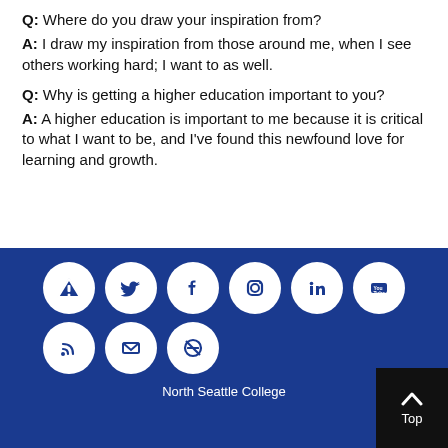Q: Where do you draw your inspiration from? A: I draw my inspiration from those around me, when I see others working hard; I want to as well.
Q: Why is getting a higher education important to you? A: A higher education is important to me because it is critical to what I want to be, and I've found this newfound love for learning and growth.
[Figure (infographic): Blue footer section with social media icon circles: alert/warning, Twitter, Facebook, Instagram, LinkedIn, YouTube, RSS, email, no-smoking, and a black 'Top' button with up arrow. North Seattle College label at bottom.]
North Seattle College